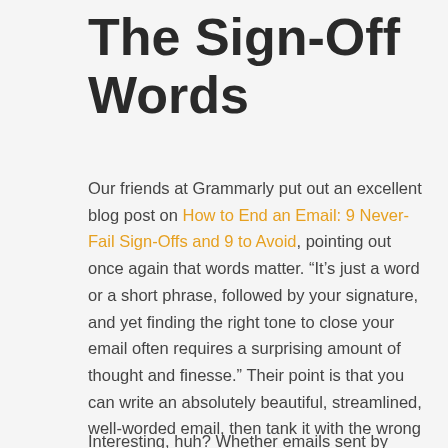The Sign-Off Words
Our friends at Grammarly put out an excellent blog post on How to End an Email: 9 Never-Fail Sign-Offs and 9 to Avoid, pointing out once again that words matter. “It’s just a word or a short phrase, followed by your signature, and yet finding the right tone to close your email often requires a surprising amount of thought and finesse.” Their point is that you can write an absolutely beautiful, streamlined, well-worded email, then tank it with the wrong sign-off.
Interesting, huh? Whether emails sent by